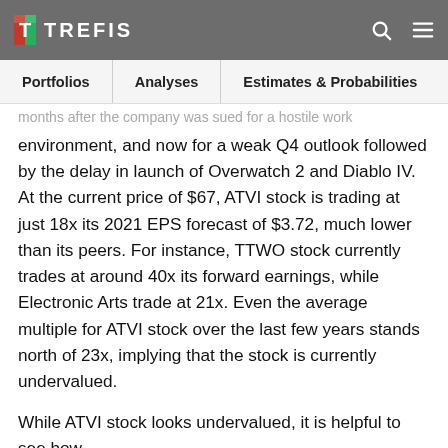TREFIS
Portfolios   Analyses   Estimates & Probabilities
months after the company was sued for a hostile work environment, and now for a weak Q4 outlook followed by the delay in launch of Overwatch 2 and Diablo IV. At the current price of $67, ATVI stock is trading at just 18x its 2021 EPS forecast of $3.72, much lower than its peers. For instance, TTWO stock currently trades at around 40x its forward earnings, while Electronic Arts trade at 21x. Even the average multiple for ATVI stock over the last few years stands north of 23x, implying that the stock is currently undervalued.
While ATVI stock looks undervalued, it is helpful to see how